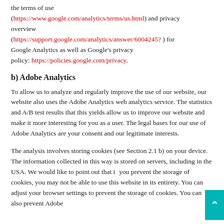the terms of use (https://www.google.com/analytics/terms/us.html) and privacy overview (https://support.google.com/analytics/answer/6004245? ) for Google Analytics as well as Google's privacy policy: https://policies.google.com/privacy.
b) Adobe Analytics
To allow us to analyze and regularly improve the use of our website, our website also uses the Adobe Analytics web analytics service. The statistics and A/B test results that this yields allow us to improve our website and make it more interesting for you as a user. The legal bases for our use of Adobe Analytics are your consent and our legitimate interests.
The analysis involves storing cookies (see Section 2.1 b) on your device. The information collected in this way is stored on servers, including in the USA. We would like to point out that if you prevent the storage of cookies, you may not be able to use this website in its entirety. You can adjust your browser settings to prevent the storage of cookies. You can also prevent Adobe